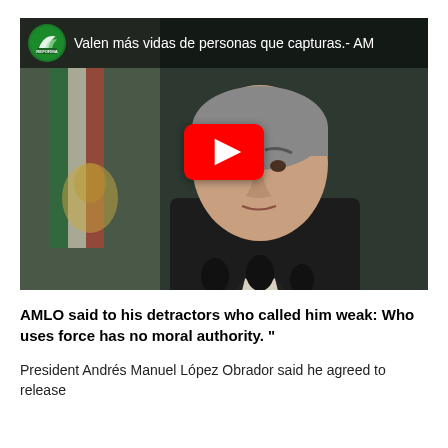[Figure (screenshot): YouTube video thumbnail from Grupo Reforma showing Mexican President AMLO (Andrés Manuel López Obrador) speaking at a podium with microphones, wearing a dark suit, with the Mexican flag in the background. The video title reads 'Valen más vidas de personas que capturas.- AM' with a red YouTube play button overlay.]
AMLO said to his detractors who called him weak: Who uses force has no moral authority. "
President Andrés Manuel López Obrador said he agreed to release